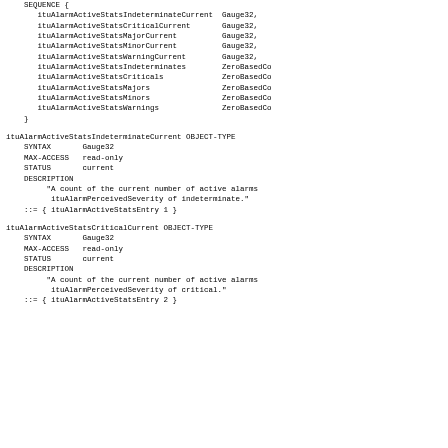SEQUENCE {
    ituAlarmActiveStatsIndeterminateCurrent  Gauge32,
    ituAlarmActiveStatsCriticalCurrent       Gauge32,
    ituAlarmActiveStatsMajorCurrent          Gauge32,
    ituAlarmActiveStatsMinorCurrent          Gauge32,
    ituAlarmActiveStatsWarningCurrent        Gauge32,
    ituAlarmActiveStatsIndeterminates        ZeroBasedCo
    ituAlarmActiveStatsCriticals             ZeroBasedCo
    ituAlarmActiveStatsMajors                ZeroBasedCo
    ituAlarmActiveStatsMinors                ZeroBasedCo
    ituAlarmActiveStatsWarnings              ZeroBasedCo
}
ituAlarmActiveStatsIndeterminateCurrent OBJECT-TYPE
    SYNTAX       Gauge32
    MAX-ACCESS   read-only
    STATUS       current
    DESCRIPTION
         "A count of the current number of active alarms
          ituAlarmPerceivedSeverity of indeterminate."
    ::= { ituAlarmActiveStatsEntry 1 }
ituAlarmActiveStatsCriticalCurrent OBJECT-TYPE
    SYNTAX       Gauge32
    MAX-ACCESS   read-only
    STATUS       current
    DESCRIPTION
         "A count of the current number of active alarms
          ituAlarmPerceivedSeverity of critical."
    ::= { ituAlarmActiveStatsEntry 2 }